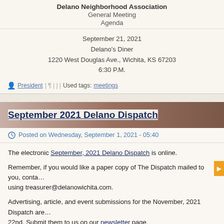Delano Neighborhood Association
General Meeting
Agenda
September 21, 2021
Delano's Diner
1220 West Douglas Ave., Wichita, KS 67203
6:30 P.M.
President | ¶ | | | Used tags: meetings
September 2021 Delano Dispatch
Posted on Wednesday, September 1, 2021 - 05:40
The electronic September, 2021 Delano Dispatch is online.
Remember, if you would like a paper copy of The Dispatch mailed to you, conta... using treasurer@delanowichita.com.
Advertising, article, and event submissions for the November, 2021 Dispatch are... 22nd. Submit them to us on our newsletter page.